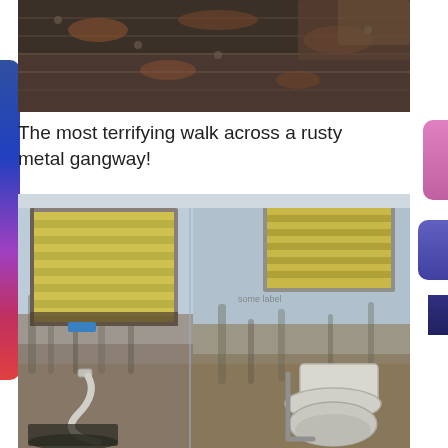[Figure (photo): Partial view of a rusty corrugated metal gangway/walkway surface, dark and weathered, shot from above]
The most terrifying walk across a rusty metal gangway!
[Figure (photo): A dirty, dilapidated bathroom interior with light blue walls heavily stained with mold and grime. Two louvered windows with yellow/golden blinds are visible. A white toilet sits in the lower right. A white hose/pipe curves from the lower left. The lower half of the walls are heavily discolored with dark mold stains.]